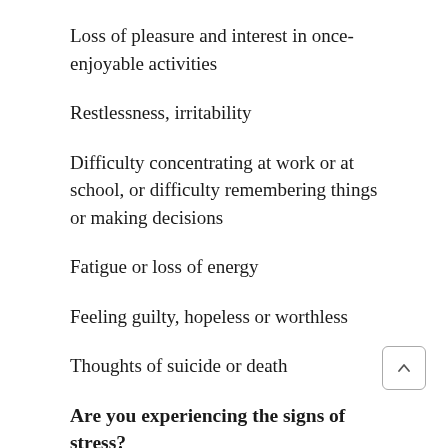Loss of pleasure and interest in once-enjoyable activities
Restlessness, irritability
Difficulty concentrating at work or at school, or difficulty remembering things or making decisions
Fatigue or loss of energy
Feeling guilty, hopeless or worthless
Thoughts of suicide or death
Are you experiencing the signs of stress?